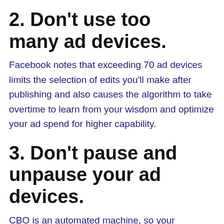2. Don't use too many ad devices.
Facebook notes that exceeding 70 ad devices limits the selection of edits you'll make after publishing and also causes the algorithm to take overtime to learn from your wisdom and optimize your ad spend for higher capability.
3. Don't pause and unpause your ad devices.
CBO is an automated machine, so your advertising machine operates best when